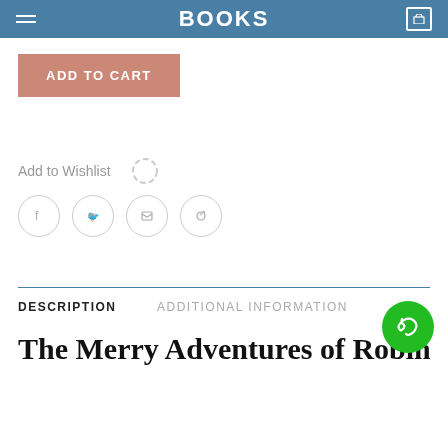BOOKS
ADD TO CART
Add to Wishlist
DESCRIPTION
ADDITIONAL INFORMATION
The Merry Adventures of Robin Hood